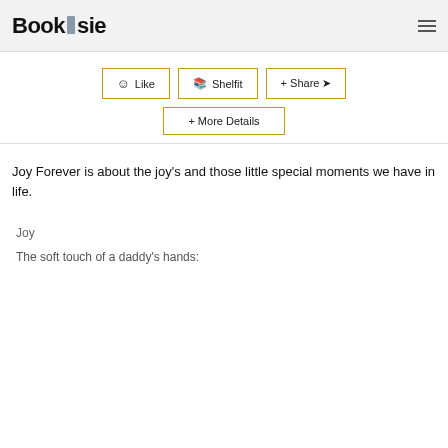Booksie
[Figure (screenshot): Three action buttons: Like, Shelfit, Share, and a More Details button below]
Joy Forever is about the joy's and those little special moments we have in life.
Joy
The soft touch of a daddy's hands: